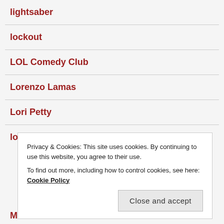lightsaber
lockout
LOL Comedy Club
Lorenzo Lamas
Lori Petty
lottery
Privacy & Cookies: This site uses cookies. By continuing to use this website, you agree to their use. To find out more, including how to control cookies, see here: Cookie Policy
Macnete